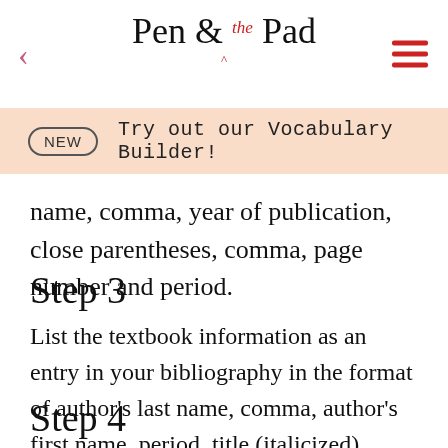Pen & the Pad
NEW  Try out our Vocabulary Builder!
name, comma, year of publication, close parentheses, comma, page number and period.
Step 3
List the textbook information as an entry in your bibliography in the format of author's last name, comma, author's first name, period, title (italicized), period, publisher's location, colon, publisher's name, comma, year of publication and period.
Step 4